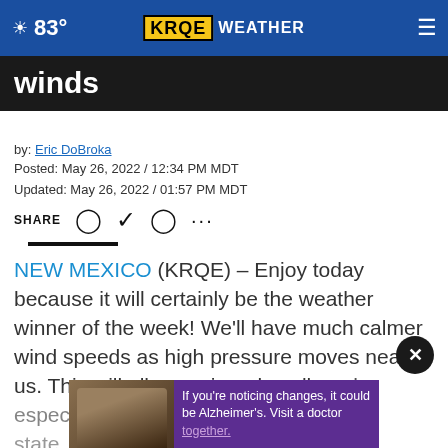83° KRQE WEATHER
winds
by: Eric DoBroka
Posted: May 26, 2022 / 12:34 PM MDT
Updated: May 26, 2022 / 01:57 PM MDT
SHARE
NEW MEXICO (KRQE) – Enjoy today because it will certainly be the weather winner of the week! We'll have much calmer wind speeds as high pressure moves near us. This will allow a nicer day all around especially the… the state. It also… temperatures a solid
[Figure (screenshot): Advertisement overlay with purple background showing two men and text: If you're noticing changes, it could be Alzheimer's. Visit a doctor together.]